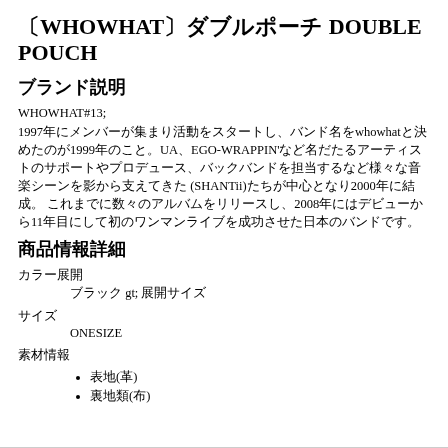〔WHOWHAT〕ダブルポーチ DOUBLE POUCH
ブランド説明
WHOWHAT#13; 1997年にメンバーが集まり活動をスタートし、バンド名をwhowhatと決めたのが1999年のこと。UA、EGO-WRAPPIN'など名だたるアーティストのサポートやプロデュース、バックバンドを担当するなど様々な音楽シーンを影から支えてきた (SHANTii)たちが中心となり2000年に結成。 これまでに数々のアルバムをリリースし、2008年にはデビューから11年目にして初のワンマンライブを成功させた日本のバンドです。
商品情報詳細
カラー展開
　　　　　ブラック gt; 展開サイズ
サイズ
　　　　　ONESIZE
素材情報
表地(革)
裏地類(布)